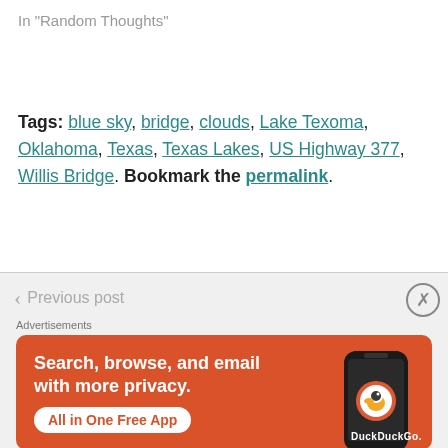In "Random Thoughts"
Tags: blue sky, bridge, clouds, Lake Texoma, Oklahoma, Texas, Texas Lakes, US Highway 377, Willis Bridge. Bookmark the permalink.
Previous post
Advertisements
[Figure (illustration): DuckDuckGo advertisement banner with orange background showing 'Search, browse, and email with more privacy. All in One Free App' with DuckDuckGo logo and phone graphic]